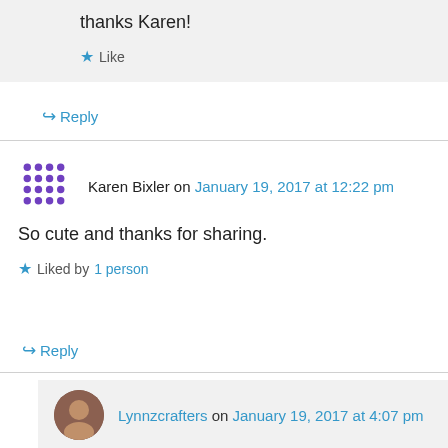thanks Karen!
★ Like
↪ Reply
Karen Bixler on January 19, 2017 at 12:22 pm
So cute and thanks for sharing.
★ Liked by 1 person
↪ Reply
Lynnzcrafters on January 19, 2017 at 4:07 pm
thanks again Karen!
★ Like